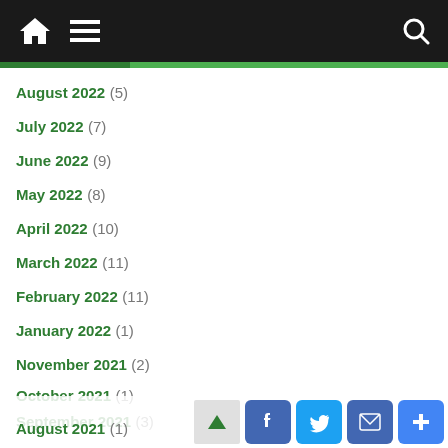Navigation bar with home, menu, and search icons
August 2022 (5)
July 2022 (7)
June 2022 (9)
May 2022 (8)
April 2022 (10)
March 2022 (11)
February 2022 (11)
January 2022 (1)
November 2021 (2)
October 2021 (1)
September 2021 (3)
August 2021 (1)